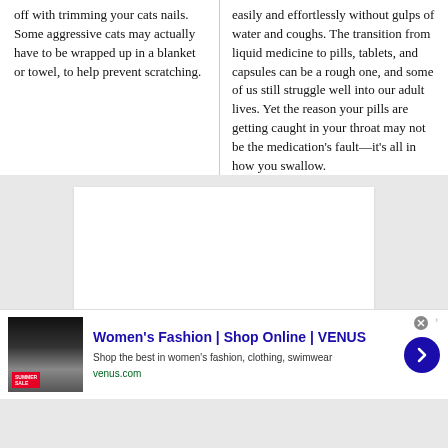off with trimming your cats nails. Some aggressive cats may actually have to be wrapped up in a blanket or towel, to help prevent scratching.
easily and effortlessly without gulps of water and coughs. The transition from liquid medicine to pills, tablets, and capsules can be a rough one, and some of us still struggle well into our adult lives. Yet the reason your pills are getting caught in your throat may not be the medication's fault—it's all in how you swallow.
[Figure (other): White rectangular content box on gray background]
[Figure (other): Advertisement banner: Women's Fashion | Shop Online | VENUS. Shop the best in women's fashion, clothing, swimwear. venus.com]